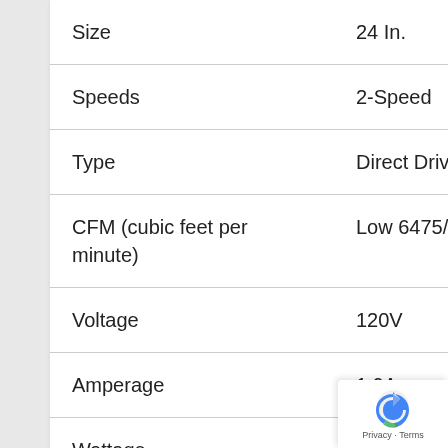| Attribute | Value |
| --- | --- |
| Size | 24 In. |
| Speeds | 2-Speed |
| Type | Direct Drive |
| CFM (cubic feet per minute) | Low 6475/High 7700 cfm |
| Voltage | 120V |
| Amperage | 1.9A |
| Wattage | 220W |
| ETL Listed | No |
| UL Listed | Yes |
| Brand | Unbranded |
| UPC | 00009326512006 |